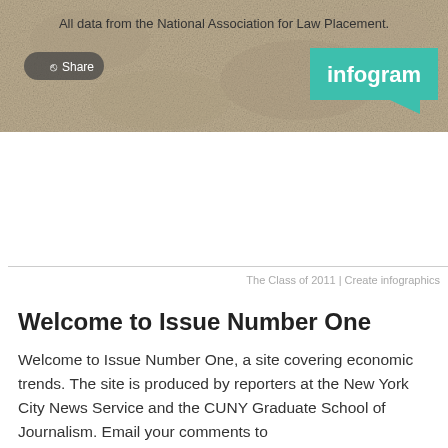[Figure (screenshot): Infogram banner with sandy/grainy background texture. Shows text 'All data from the National Association for Law Placement.' with a Share button on the left and an 'infogram' teal badge on the right.]
The Class of 2011 | Create infographics
Welcome to Issue Number One
Welcome to Issue Number One, a site covering economic trends. The site is produced by reporters at the New York City News Service and the CUNY Graduate School of Journalism. Email your comments to greg.david@journalism.cuny.edu.